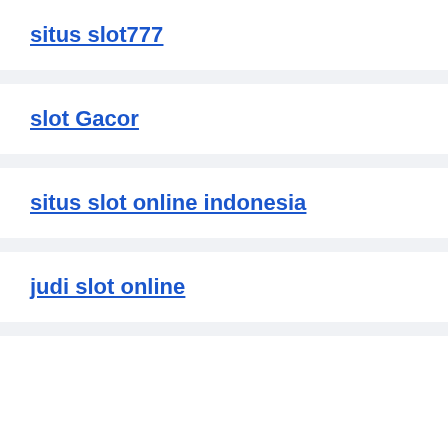situs slot777
slot Gacor
situs slot online indonesia
judi slot online